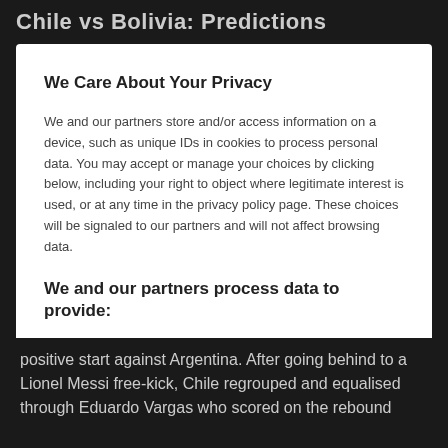Chile vs Bolivia: Predictions
We Care About Your Privacy
We and our partners store and/or access information on a device, such as unique IDs in cookies to process personal data. You may accept or manage your choices by clicking below, including your right to object where legitimate interest is used, or at any time in the privacy policy page. These choices will be signaled to our partners and will not affect browsing data.
We and our partners process data to provide:
Use precise geolocation data. Actively scan device characteristics for identification. Store and/or access information on a device. Personalised ads and content, ad and content measurement, audience insights and product development.
List of Partners (vendors)
Show Purposes
I Accept
positive start against Argentina. After going behind to a Lionel Messi free-kick, Chile regrouped and equalised through Eduardo Vargas who scored on the rebound